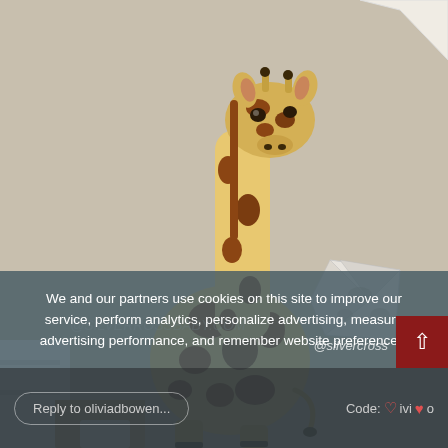[Figure (photo): A stuffed giraffe toy standing in a room near a wall, with some furniture and a paper/origami item pinned to the wall on the right side. Background is a beige/tan wall.]
We and our partners use cookies on this site to improve our service, perform analytics, personalize advertising, measure advertising performance, and remember website preferences.
@silvercross
Reply to oliviadbowen...
Code: ♡ivi♥o